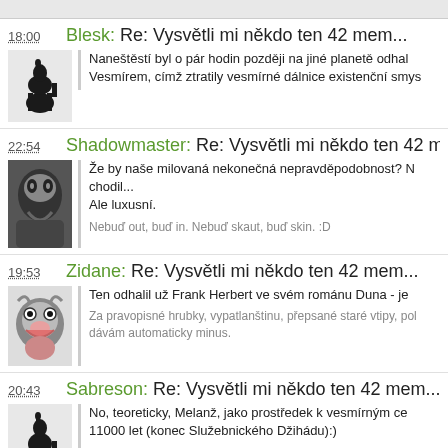18:00  Blesk: Re: Vysvětli mi někdo ten 42 mem...
Naneštěstí byl o pár hodin později na jiné planetě odhal... Vesmírem, címž ztratily vesmírné dálnice existenční smysl...
22:54  Shadowmaster: Re: Vysvětli mi někdo ten 42 m...
Že by naše milovaná nekonečná nepravděpodobnost? N... chodil...
Ale luxusní.
Nebuď out, buď in. Nebuď skaut, buď skin. :D
19:53  Zidane: Re: Vysvětli mi někdo ten 42 mem...
Ten odhalil už Frank Herbert ve svém románu Duna - je...
Za pravopisné hrubky, vypatlanštinu, přepsané staré vtipy, pol... dávám automaticky minus.
20:43  Sabreson: Re: Vysvětli mi někdo ten 42 mem...
No, teoreticky, Melanž, jako prostředek k vesmírným ce... 11000 let (konec Služebnického Džihádu):)

(Mám tam nějak moc čárek)